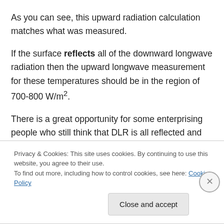As you can see, this upward radiation calculation matches what was measured.
If the surface reflects all of the downward longwave radiation then the upward longwave measurement for these temperatures should be in the region of 700-800 W/m².
There is a great opportunity for some enterprising people who still think that DLR is all reflected and not absorbed – buy a decent pyrgeometer and take some upward surface
Privacy & Cookies: This site uses cookies. By continuing to use this website, you agree to their use.
To find out more, including how to control cookies, see here: Cookie Policy